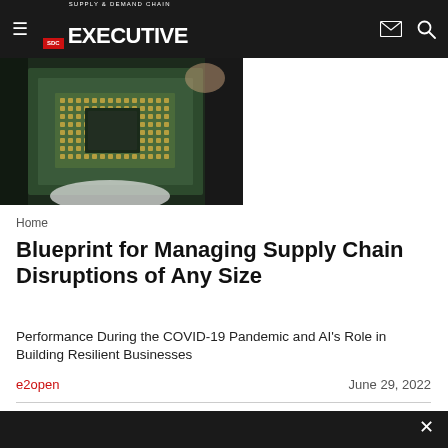Supply & Demand Chain Executive
[Figure (photo): Close-up photo of a green CPU/processor chip being held, showing the gold contact pins on the underside, with electronic equipment in the background.]
Home
Blueprint for Managing Supply Chain Disruptions of Any Size
Performance During the COVID-19 Pandemic and AI's Role in Building Resilient Businesses
e2open   June 29, 2022